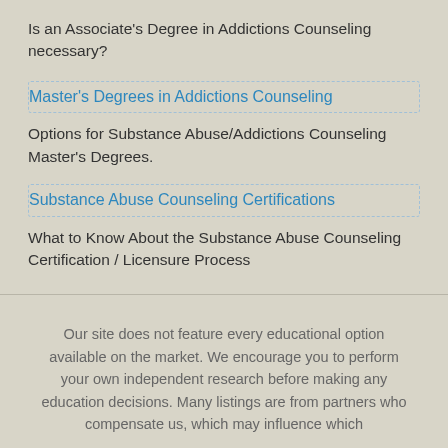Is an Associate's Degree in Addictions Counseling necessary?
Master's Degrees in Addictions Counseling
Options for Substance Abuse/Addictions Counseling Master's Degrees.
Substance Abuse Counseling Certifications
What to Know About the Substance Abuse Counseling Certification / Licensure Process
Our site does not feature every educational option available on the market. We encourage you to perform your own independent research before making any education decisions. Many listings are from partners who compensate us, which may influence which